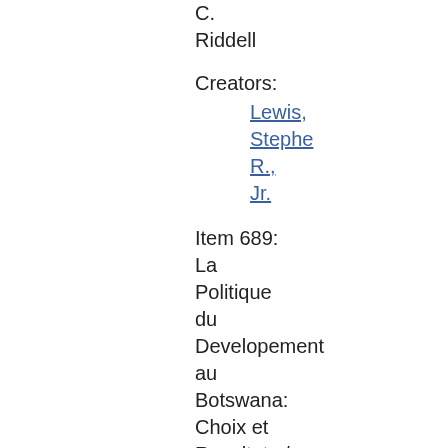C. Riddell
Creators:
Lewis, Stephen R., Jr.
Item 689: La Politique du Developement au Botswana: Choix et Resultats / Charles Harvey and Stephen R. Lewis Jr., 1990
Cataloging-Barcodes: 30118012879